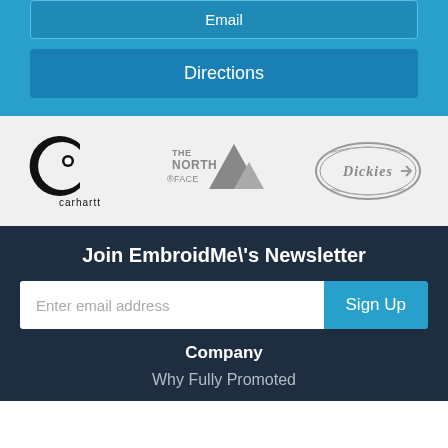Email
Directions
[Figure (logo): Carhartt brand logo in black]
[Figure (logo): The North Face brand logo in gray]
[Figure (logo): Dickies brand logo in gray]
Join EmbroidMe\'s Newsletter
Enter email address
Sign Up
Company
Why Fully Promoted